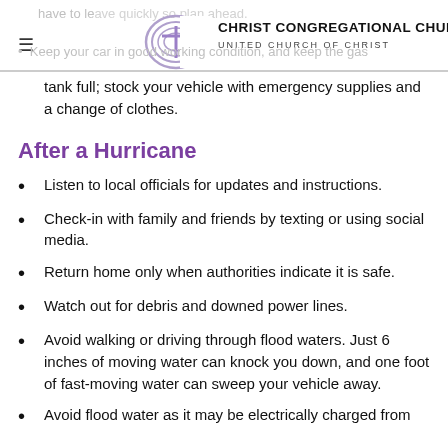Christ Congregational Church — United Church of Christ
have to leave quickly so plan ahead.
Keep your car in good working condition, and keep the gas tank full; stock your vehicle with emergency supplies and a change of clothes.
After a Hurricane
Listen to local officials for updates and instructions.
Check-in with family and friends by texting or using social media.
Return home only when authorities indicate it is safe.
Watch out for debris and downed power lines.
Avoid walking or driving through flood waters. Just 6 inches of moving water can knock you down, and one foot of fast-moving water can sweep your vehicle away.
Avoid flood water as it may be electrically charged from